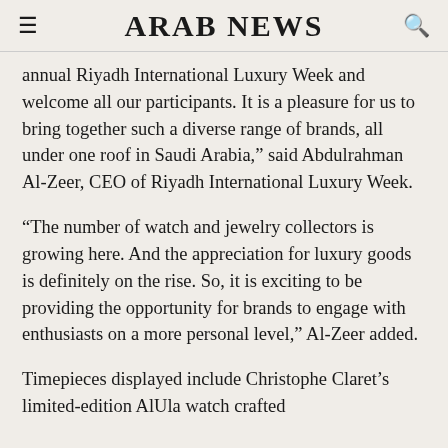ARAB NEWS
annual Riyadh International Luxury Week and welcome all our participants. It is a pleasure for us to bring together such a diverse range of brands, all under one roof in Saudi Arabia,” said Abdulrahman Al-Zeer, CEO of Riyadh International Luxury Week.
“The number of watch and jewelry collectors is growing here. And the appreciation for luxury goods is definitely on the rise. So, it is exciting to be providing the opportunity for brands to engage with enthusiasts on a more personal level,” Al-Zeer added.
Timepieces displayed include Christophe Claret’s limited-edition AlUla watch crafted